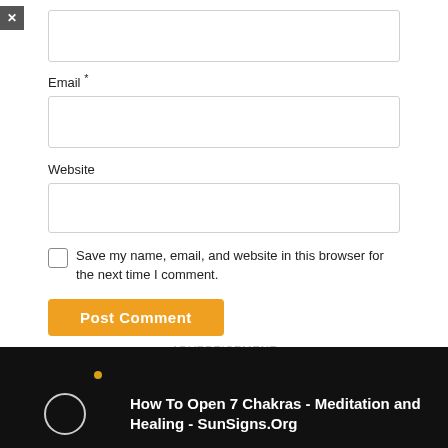[Figure (screenshot): Text input field (empty, top of form)]
Email *
[Figure (screenshot): Email text input field (empty)]
Website
[Figure (screenshot): Website text input field (empty)]
Save my name, email, and website in this browser for the next time I comment.
Post Comment
-ADVERTISEMENT-
[Figure (screenshot): Video overlay: How To Open 7 Chakras - Meditation and Healing - SunSigns.Org on black background]
[Figure (screenshot): Bottom advertisement banner: CHAT & LIVE STREAM, clover branding, orange background with woman photo]